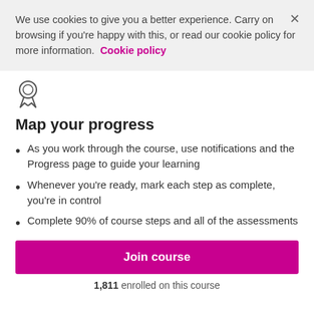We use cookies to give you a better experience. Carry on browsing if you're happy with this, or read our cookie policy for more information. Cookie policy
[Figure (illustration): Medal/ribbon badge icon in gray outline style]
Map your progress
As you work through the course, use notifications and the Progress page to guide your learning
Whenever you're ready, mark each step as complete, you're in control
Complete 90% of course steps and all of the assessments
Join course
1,811 enrolled on this course